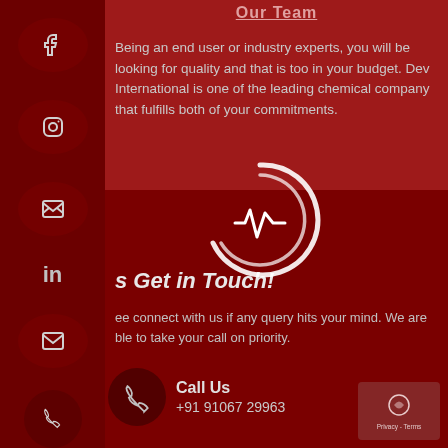Our Team
Being an end user or industry experts, you will be looking for quality and that is too in your budget. Dev International is one of the leading chemical company that fulfills both of your commitments.
[Figure (logo): Circular spinner/heartbeat logo icon in white on dark red background]
Let's Get in Touch!
Feel free connect with us if any query hits your mind. We are available to take your call on priority.
Call Us +91 91067 29963